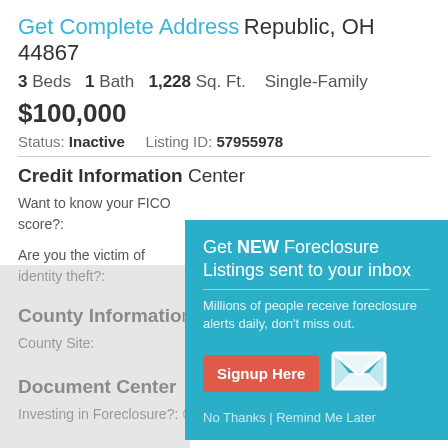Get Complete Address Republic, OH 44867
3 Beds  1 Bath  1,228 Sq. Ft.  Single-Family
$100,000
Status: Inactive   Listing ID: 57955978
Credit Information Center
Want to know your FICO score?:
Are you the victim of identity theft?:
County Information
County Site:
Document Center
Investing in Foreclosure?:  Get a Title Search
[Figure (infographic): Modal popup overlay: 'Get NEW Foreclosure Listings sent to your inbox. Millions of people receive foreclosure alerts daily, don't miss out.' with a red Signup Here button, envelope icon, and 'No Thanks | Remind Me Later' link.]